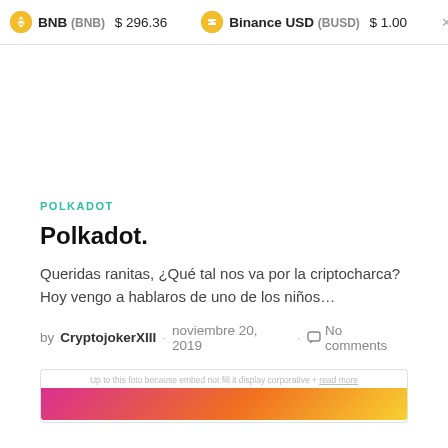BNB (BNB) $296.36   Binance USD (BUSD) $1.00   × XRP
POLKADOT
Polkadot.
Queridas ranitas, ¿Qué tal nos va por la criptocharca? Hoy vengo a hablaros de uno de los niños…
by CryptojokerXIII · noviembre 20, 2019 · No comments